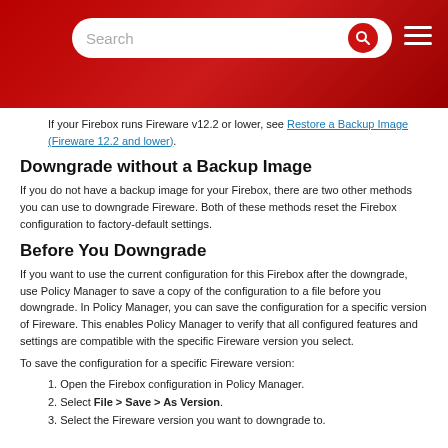Search
If your Firebox runs Fireware v12.2 or lower, see Restore a Backup Image (Fireware 12.2 and lower).
Downgrade without a Backup Image
If you do not have a backup image for your Firebox, there are two other methods you can use to downgrade Fireware. Both of these methods reset the Firebox configuration to factory-default settings.
Before You Downgrade
If you want to use the current configuration for this Firebox after the downgrade, use Policy Manager to save a copy of the configuration to a file before you downgrade. In Policy Manager, you can save the configuration for a specific version of Fireware. This enables Policy Manager to verify that all configured features and settings are compatible with the specific Fireware version you select.
To save the configuration for a specific Fireware version:
1. Open the Firebox configuration in Policy Manager.
2. Select File > Save > As Version.
3. Select the Fireware version you want to downgrade to.